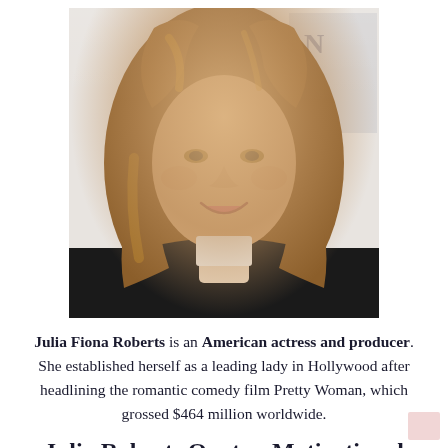[Figure (photo): Portrait photo of Julia Roberts with long wavy auburn hair, wearing a black outfit, smiling, at what appears to be a media event with partial text visible in background.]
Julia Fiona Roberts is an American actress and producer. She established herself as a leading lady in Hollywood after headlining the romantic comedy film Pretty Woman, which grossed $464 million worldwide.
Julia Roberts Quotes. Motivational and Inspirational Quotes. Julia